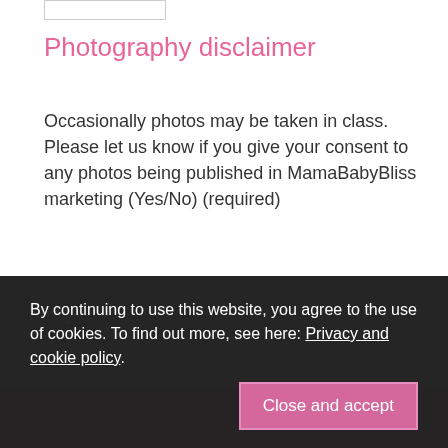[Figure (other): Small rectangular input field stub at top of page]
Photography disclaimer
Occasionally photos may be taken in class. Please let us know if you give your consent to any photos being published in MamaBabyBliss marketing (Yes/No) (required)
[Figure (other): Dropdown select box with dashes and chevron arrow]
[Figure (other): Pink Send button (partially visible)]
By continuing to use this website, you agree to the use of cookies. To find out more, see here: Privacy and cookie policy.
[Figure (other): Close and accept pink button in cookie banner]